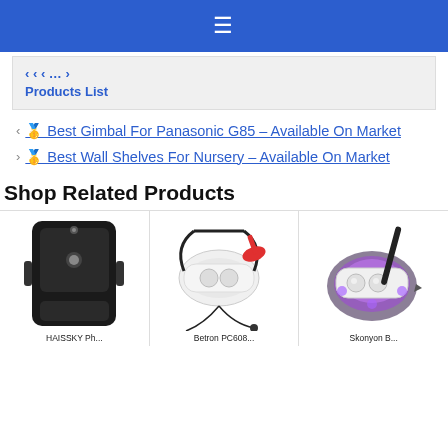≡ (navigation bar)
Products List
🥇 Best Gimbal For Panasonic G85 – Available On Market
🥇 Best Wall Shelves For Nursery – Available On Market
Shop Related Products
[Figure (photo): Black armband phone holder bag with zipper]
[Figure (photo): White VR headset with red controller and earphones]
[Figure (photo): VR headset with stylus pen and purple light effect]